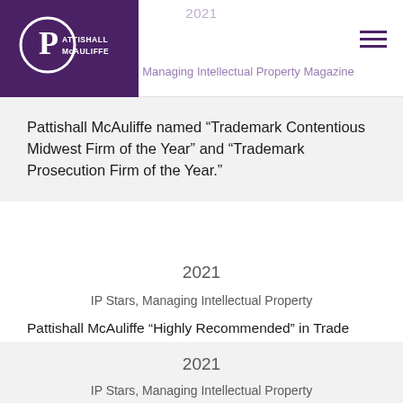2021 — Managing Intellectual Property Magazine
Pattishall McAuliffe named “Trademark Contentious Midwest Firm of the Year” and “Trademark Prosecution Firm of the Year.”
2021
IP Stars, Managing Intellectual Property
Pattishall McAuliffe “Highly Recommended” in Trade mark in Illinois
2021
IP Stars, Managing Intellectual Property